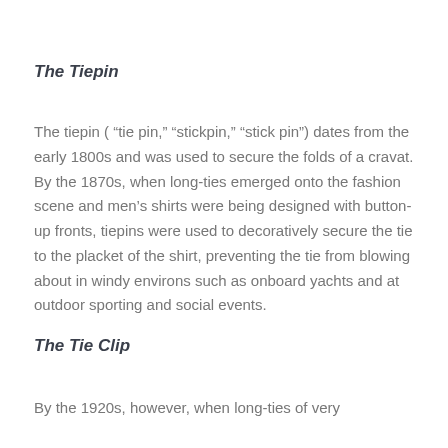The Tiepin
The tiepin (“tie pin,” “stickpin,” “stick pin”) dates from the early 1800s and was used to secure the folds of a cravat. By the 1870s, when long-ties emerged onto the fashion scene and men’s shirts were being designed with button-up fronts, tiepins were used to decoratively secure the tie to the placket of the shirt, preventing the tie from blowing about in windy environs such as onboard yachts and at outdoor sporting and social events.
The Tie Clip
By the 1920s, however, when long-ties of very